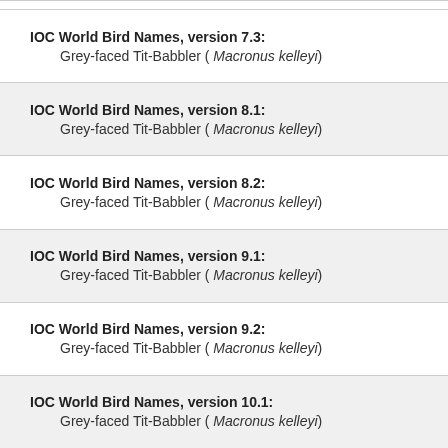IOC World Bird Names, version 7.3: Grey-faced Tit-Babbler ( Macronus kelleyi)
IOC World Bird Names, version 8.1: Grey-faced Tit-Babbler ( Macronus kelleyi)
IOC World Bird Names, version 8.2: Grey-faced Tit-Babbler ( Macronus kelleyi)
IOC World Bird Names, version 9.1: Grey-faced Tit-Babbler ( Macronus kelleyi)
IOC World Bird Names, version 9.2: Grey-faced Tit-Babbler ( Macronus kelleyi)
IOC World Bird Names, version 10.1: Grey-faced Tit-Babbler ( Macronus kelleyi)